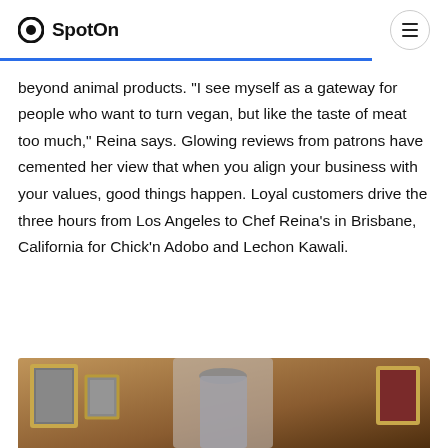SpotOn
beyond animal products. “I see myself as a gateway for people who want to turn vegan, but like the taste of meat too much,” Reina says. Glowing reviews from patrons have cemented her view that when you align your business with your values, good things happen. Loyal customers drive the three hours from Los Angeles to Chef Reina’s in Brisbane, California for Chick’n Adobo and Lechon Kawali.
[Figure (photo): Photo of Chef Reina in a restaurant interior with gold-framed artwork on the walls, person wearing a cap visible in the center of the frame]